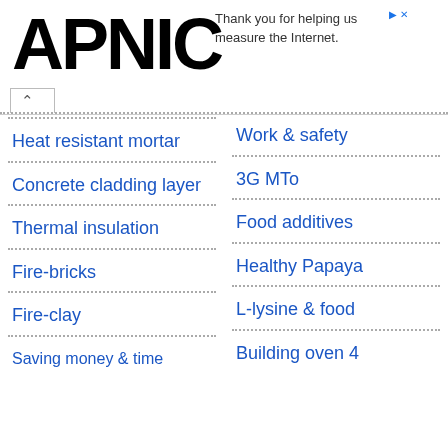APNIC — Thank you for helping us measure the Internet.
Heat resistant mortar
Work & safety
Concrete cladding layer
3G MTo
Thermal insulation
Food additives
Fire-bricks
Healthy Papaya
Fire-clay
L-lysine & food
Saving money & time
Building oven 4